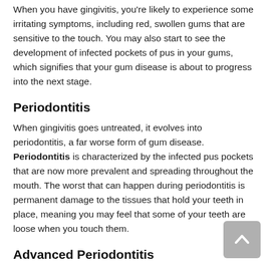When you have gingivitis, you're likely to experience some irritating symptoms, including red, swollen gums that are sensitive to the touch. You may also start to see the development of infected pockets of pus in your gums, which signifies that your gum disease is about to progress into the next stage.
Periodontitis
When gingivitis goes untreated, it evolves into periodontitis, a far worse form of gum disease. Periodontitis is characterized by the infected pus pockets that are now more prevalent and spreading throughout the mouth. The worst that can happen during periodontitis is permanent damage to the tissues that hold your teeth in place, meaning you may feel that some of your teeth are loose when you touch them.
Advanced Periodontitis